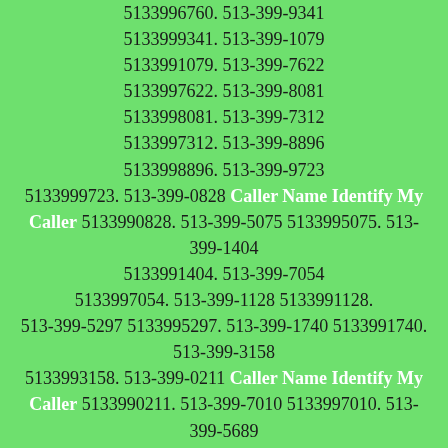5133996760. 513-399-9341 5133999341. 513-399-1079 5133991079. 513-399-7622 5133997622. 513-399-8081 5133998081. 513-399-7312 5133997312. 513-399-8896 5133998896. 513-399-9723 5133999723. 513-399-0828 Caller Name Identify My Caller 5133990828. 513-399-5075 5133995075. 513-399-1404 5133991404. 513-399-7054 5133997054. 513-399-1128 5133991128. 513-399-5297 5133995297. 513-399-1740 5133991740. 513-399-3158 5133993158. 513-399-0211 Caller Name Identify My Caller 5133990211. 513-399-7010 5133997010. 513-399-5689 5133995689. 513-399-6334 5133996334. 513-399-3532 5133993532. 513-399-2071 5133992071. 513-399-9159 5133999159. 513-399-7918 5133997918. 513-399-1121 5133991121. 513-399-8693 5133998693. 513-399-3472 5133993472. 513-399-0935 Caller